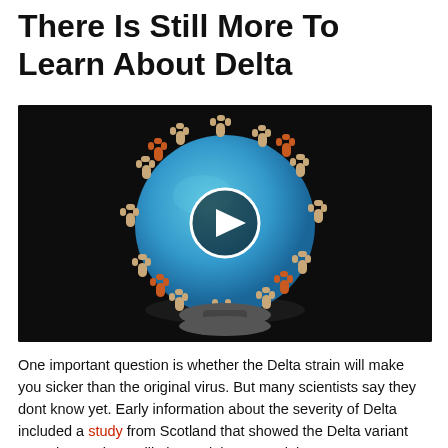There Is Still More To Learn About Delta
[Figure (photo): A 3D model of a coronavirus particle on a dark background, shown as a blue sphere with spike proteins (tan/beige) and some orange/brown colored spikes, with a video play button overlay in the center.]
One important question is whether the Delta strain will make you sicker than the original virus. But many scientists say they dont know yet. Early information about the severity of Delta included a study from Scotland that showed the Delta variant was about twice as likely as Alpha to result in